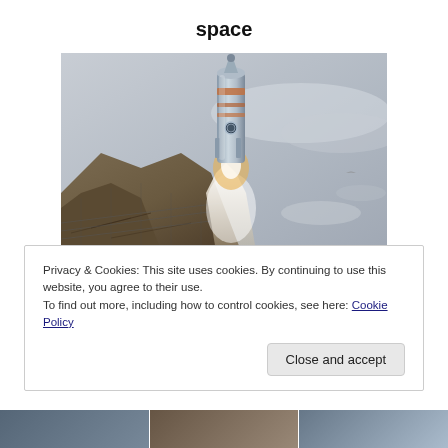space
[Figure (illustration): Retro science fiction illustration of a rocket launching, depicted in a painterly style with dramatic plumes of fire and smoke against a grey sky with rocky terrain.]
Privacy & Cookies: This site uses cookies. By continuing to use this website, you agree to their use.
To find out more, including how to control cookies, see here: Cookie Policy
[Figure (photo): Partial bottom strip showing three partially visible thumbnail images at the bottom of the page.]